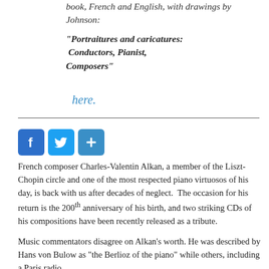book, French and English, with drawings by Johnson:
“Portraitures and caricatures: Conductors, Pianist, Composers”
here.
[Figure (other): Social sharing buttons: Facebook, Twitter, and a share/add button]
French composer Charles-Valentin Alkan, a member of the Liszt-Chopin circle and one of the most respected piano virtuosos of his day, is back with us after decades of neglect. The occasion for his return is the 200th anniversary of his birth, and two striking CDs of his compositions have been recently released as a tribute.
Music commentators disagree on Alkan’s worth. He was described by Hans von Bulow as “the Berlioz of the piano” while others, including a Paris radio